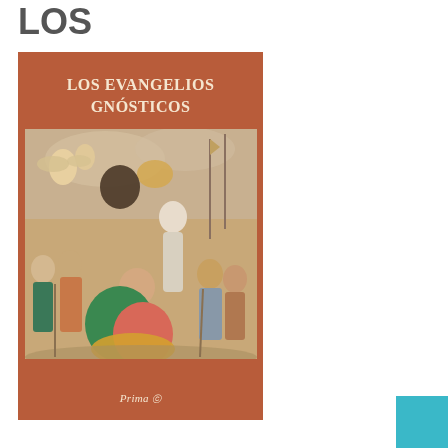LOS
[Figure (illustration): Book cover of 'Los Evangelios Gnósticos' published by Prima, showing a terracotta/rust colored cover with the title in cream bold serif font at the top, and a classical religious painting depicting figures in a biblical scene (resembling a crucifixion or biblical narrative with angels, kneeling figures, and soldiers) occupying the lower two-thirds of the cover, with a publisher logo 'Prima' at the bottom.]
[Figure (other): Small teal/cyan square block in the bottom-right corner of the page.]